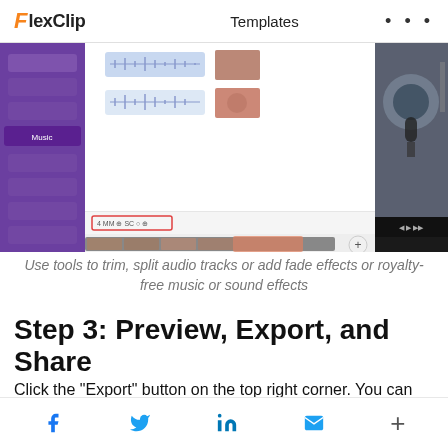FlexClip   Templates   ...
[Figure (screenshot): FlexClip video editor interface showing music/audio editing panel with timeline, audio waveforms, video clips, and a preview of a woman with headphones at a microphone]
Use tools to trim, split audio tracks or add fade effects or royalty-free music or sound effects
Step 3: Preview, Export, and Share
Click the “Export” button on the top right corner. You can directly download the MP4 video with
f  Twitter  in  Email  +